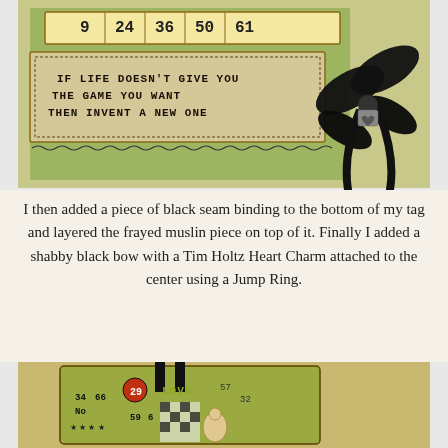[Figure (photo): Photo of a handmade scrapbook tag with vintage game/bingo theme. The tag features text reading 'IF LIFE DOESN'T GIVE YOU THE GAME YOU WANT THEN INVENT A NEW ONE', numbers 9 24 36 50 61, green patterned background, and a large black shabby bow with a heart charm attached at center.]
I then added a piece of black seam binding to the bottom of my tag and layered the frayed muslin piece on top of it. Finally I added a shabby black bow with a Tim Holtz Heart Charm attached to the center using a Jump Ring.
[Figure (photo): Partial photo of another handmade tag with vintage game theme, showing numbers like 34, 66, 29, 57, 32, the word LOVE, a checkered pattern, and a figure illustration. The tag has a black ribbon at top and greenish-yellow distressed background.]